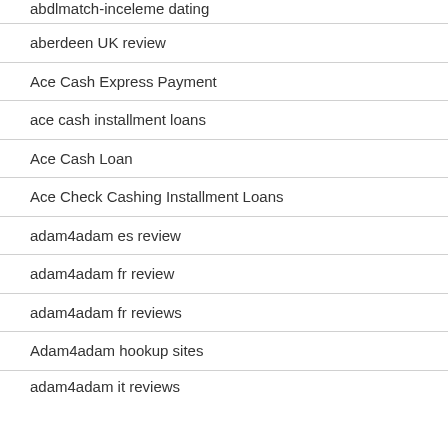abdlmatch-inceleme dating
aberdeen UK review
Ace Cash Express Payment
ace cash installment loans
Ace Cash Loan
Ace Check Cashing Installment Loans
adam4adam es review
adam4adam fr review
adam4adam fr reviews
Adam4adam hookup sites
adam4adam it reviews